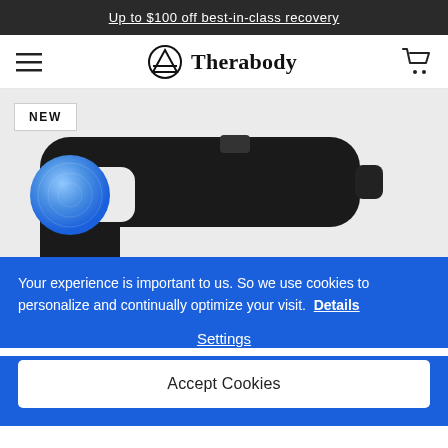Up to $100 off best-in-class recovery
[Figure (screenshot): Therabody website navigation bar with hamburger menu icon on left, Therabody logo (circle with triangle icon) and brand name in center, and shopping cart icon on right]
[Figure (photo): Therabody massage device product photo on light gray background, showing a black ergonomic handheld device with a blue circular button, labeled NEW in top left corner]
Your experience is important to us. So we use cookies to personalize and continually optimize your visit. Details
Settings
Accept Cookies